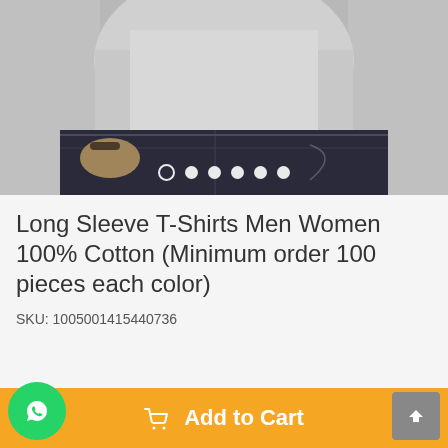[Figure (photo): Product photo of a man wearing a grey long sleeve t-shirt and dark jeans, with carousel navigation dots at the bottom]
Long Sleeve T-Shirts Men Women 100% Cotton (Minimum order 100 pieces each color)
SKU: 1005001415440736
Quantity: 1
Add to Cart